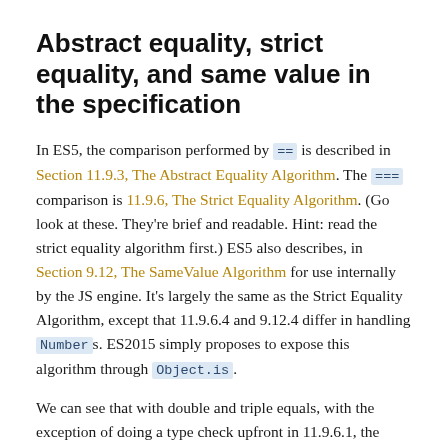Abstract equality, strict equality, and same value in the specification
In ES5, the comparison performed by == is described in Section 11.9.3, The Abstract Equality Algorithm. The === comparison is 11.9.6, The Strict Equality Algorithm. (Go look at these. They're brief and readable. Hint: read the strict equality algorithm first.) ES5 also describes, in Section 9.12, The SameValue Algorithm for use internally by the JS engine. It's largely the same as the Strict Equality Algorithm, except that 11.9.6.4 and 9.12.4 differ in handling Numbers. ES2015 simply proposes to expose this algorithm through Object.is.
We can see that with double and triple equals, with the exception of doing a type check upfront in 11.9.6.1, the